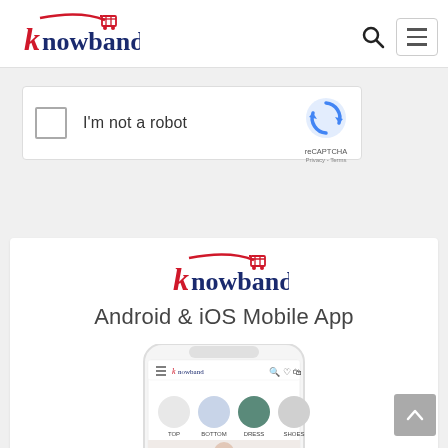[Figure (logo): Knowband logo with red shopping cart and dark blue text]
[Figure (infographic): Search icon (magnifying glass) in header]
[Figure (other): Hamburger menu button with three horizontal lines]
[Figure (screenshot): reCAPTCHA widget with checkbox, 'I'm not a robot' text, and reCAPTCHA logo with Privacy - Terms links]
POST COMMENT
[Figure (screenshot): Knowband Android & iOS Mobile App banner with Knowband logo, title text, and phone mockup showing app with categories: TOP, BOTTOM, DRESS, SHOES]
[Figure (other): Scroll-to-top button with upward arrow]